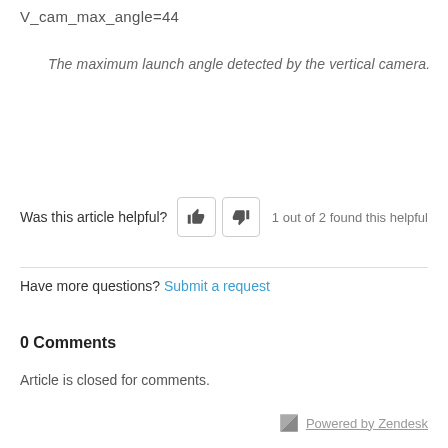V_cam_max_angle=44
The maximum launch angle detected by the vertical camera.
Was this article helpful? 1 out of 2 found this helpful
Have more questions? Submit a request
0 Comments
Article is closed for comments.
Powered by Zendesk